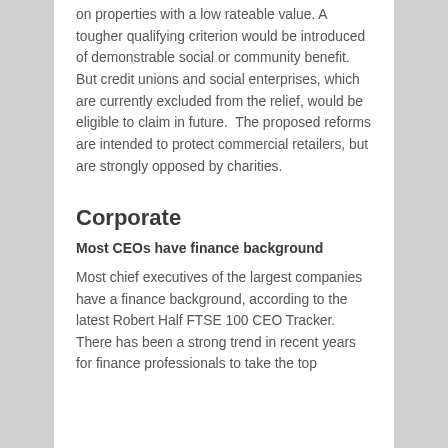on properties with a low rateable value. A tougher qualifying criterion would be introduced of demonstrable social or community benefit.  But credit unions and social enterprises, which are currently excluded from the relief, would be eligible to claim in future.  The proposed reforms are intended to protect commercial retailers, but are strongly opposed by charities.
Corporate
Most CEOs have finance background
Most chief executives of the largest companies have a finance background, according to the latest Robert Half FTSE 100 CEO Tracker.  There has been a strong trend in recent years for finance professionals to take the top